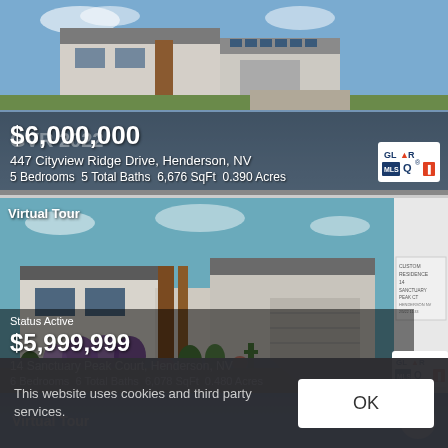[Figure (photo): Modern luxury home exterior with blue sky, listing card 1. Price $6,000,000. Address: 447 Cityview Ridge Drive, Henderson, NV. 5 Bedrooms, 5 Total Baths, 6,676 SqFt, 0.390 Acres. GVR 2022 watermark. GLVAR MLS logo.]
$6,000,000
447 Cityview Ridge Drive, Henderson, NV
5 Bedrooms  5 Total Baths  6,676 SqFt  0.390 Acres
[Figure (photo): Modern luxury home exterior with desert landscaping. Status Active. Price $5,999,999. Address: 14 Sanctuary Peak Court, Henderson, NV. 6 Bedrooms, 6 Total Baths, 6,078 SqFt, 0.480 Acres. Virtual Tour badge. GLVAR MLS logo. Sidebar with heart/favorite icon and floor plan thumbnail.]
Status Active
$5,999,999
14 Sanctuary Peak Court, Henderson, NV
6 Bedrooms  6 Total Baths  6,078 SqFt  0.480 Acres
[Figure (photo): Partial third listing card with blue gradient background. Virtual Tour badge and heart/favorite icon visible.]
This website uses cookies and third party services.
OK